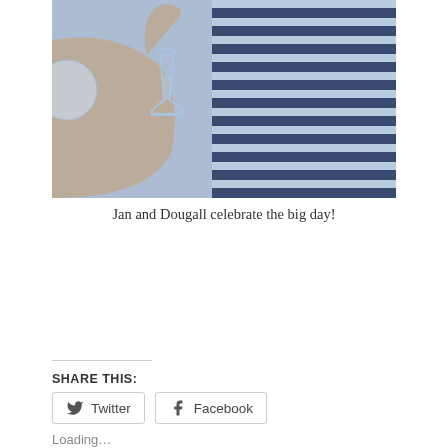[Figure (photo): Two people celebrating, one in a blue and black striped shirt, holding a glass. A hand with a drink is visible in the foreground.]
Jan and Dougall celebrate the big day!
SHARE THIS:
Twitter  Facebook
Loading...
PREVIOUS POST
Week 18 – Type 2nd Conditioning finishes